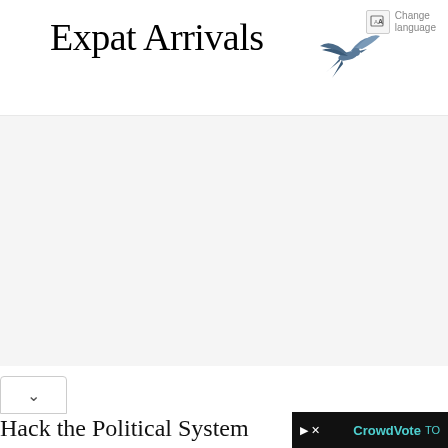[Figure (logo): Expat Arrivals logo with swift bird graphic and serif text]
Change language
Hack the Political System